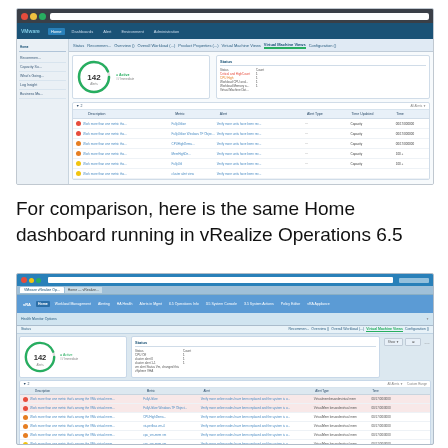[Figure (screenshot): Screenshot of vRealize Operations Manager Home dashboard showing recommendations, health status with a circular gauge displaying '142', and a table of alerts with severity indicators (red, orange, yellow dots) and columns for Description, Metric, Alert, Alert Type, Time Updated, Time.]
For comparison, here is the same Home dashboard running in vRealize Operations 6.5
[Figure (screenshot): Screenshot of the same vRealize Operations Home dashboard running in vRealize Operations 6.5, showing older UI styling with a blue navigation bar, the same circular gauge displaying '142', and a similar table of alerts with severity indicators.]